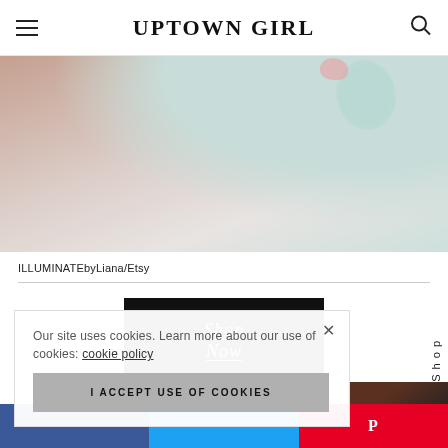UPTOWN GIRL
[Figure (photo): Close-up photo of a light beige/cream surface with a mint/teal ceramic bowl or object and a pink flower petal visible in the corner, soft styling product flatlay]
ILLUMINATEbyLiana/Etsy
[Figure (other): Black button with white italic underlined text 'Shop Now']
Our site uses cookies. Learn more about our use of cookies: cookie policy
I ACCEPT USE OF COOKIES